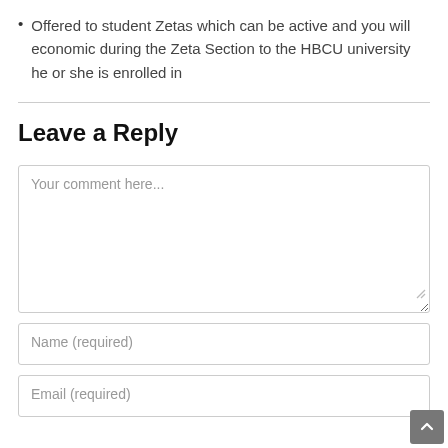Offered to student Zetas which can be active and you will economic during the Zeta Section to the HBCU university he or she is enrolled in
Leave a Reply
Your comment here...
Name (required)
Email (required)